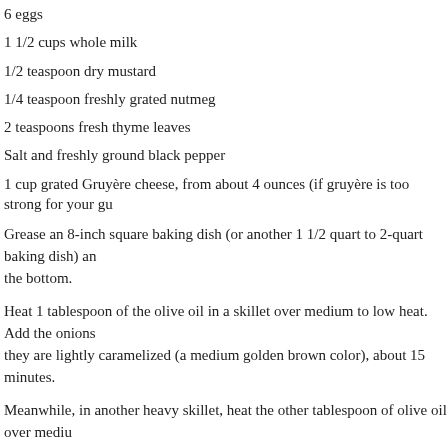6 eggs
1 1/2 cups whole milk
1/2 teaspoon dry mustard
1/4 teaspoon freshly grated nutmeg
2 teaspoons fresh thyme leaves
Salt and freshly ground black pepper
1 cup grated Gruyère cheese, from about 4 ounces (if gruyère is too strong for your gu
Grease an 8-inch square baking dish (or another 1 1/2 quart to 2-quart baking dish) an the bottom.
Heat 1 tablespoon of the olive oil in a skillet over medium to low heat. Add the onions they are lightly caramelized (a medium golden brown color), about 15 minutes.
Meanwhile, in another heavy skillet, heat the other tablespoon of olive oil over mediu until the fat is almost all rendered and it begins to get crisp, about 8 to 10 minutes. Set
Whisk together the eggs, milk, dry mustard, nutmeg, and thyme. Season with about 1/4 generous quantity of black pepper.
Spread the pancetta over the bread cubes, then layer the onions on top. Sprinkle grated pour the egg mixture over the entire thing.
Press down on the top gently, so that all of the bread cubes get soaked a bit with the eg